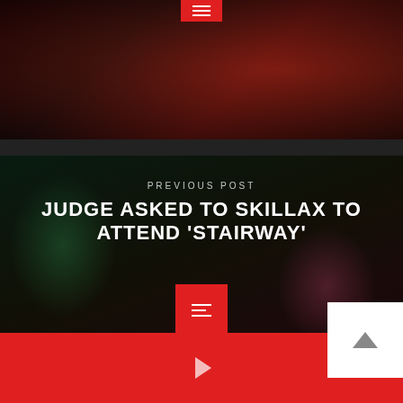[Figure (photo): Dark reddish-toned concert or music event photo at top of page with a small red button/icon overlay at the top center]
[Figure (photo): Dark atmospheric photo of a woman holding colored smoke bombs (green and pink) in a forest setting, used as background for the 'Previous Post' navigation section]
PREVIOUS POST
JUDGE ASKED TO SKILLAX TO ATTEND 'STAIRWAY'
[Figure (other): Red square button with three horizontal lines (hamburger/menu icon) centered on the middle photo]